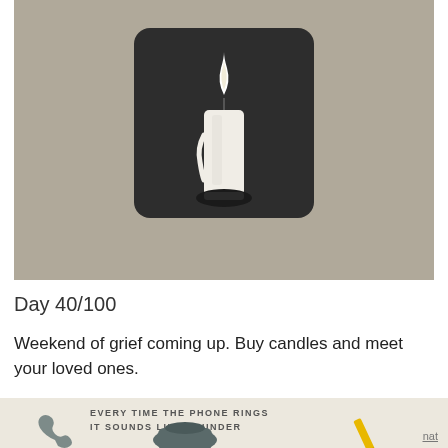[Figure (illustration): Illustration of a white candle with a flame on a dark rounded square background, set against a warm grey/taupe background.]
Day 40/100
Weekend of grief coming up. Buy candles and meet your loved ones.
[Figure (illustration): Partial view of an illustration showing two vintage telephones with text 'EVERY TIME THE PHONE RINGS IT SOUNDS LIKE THUNDER' and a yellow pencil on a light background.]
nat